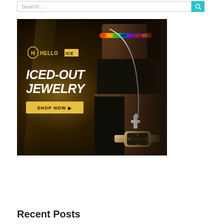Search ...
[Figure (photo): Hello Ice advertisement banner featuring a dark background with golden lighting, a person wearing iced-out jewelry (Cuban chain necklace, pendant, and watch), logo reading H HELLO ICE, headline text ICED-OUT JEWELRY, and a yellow SHOP NOW button]
Recent Posts